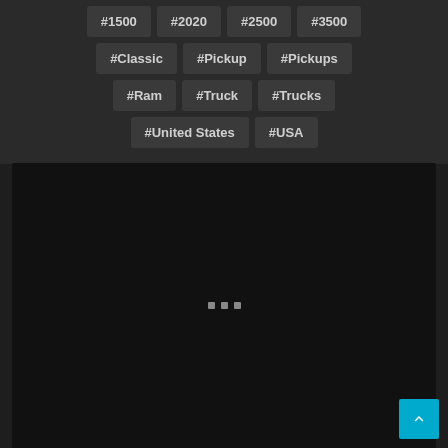#1500
#2020
#2500
#3500
#Classic
#Pickup
#Pickups
#Ram
#Truck
#Trucks
#United States
#USA
[Figure (other): Dark loading panel with three small square dots in the center, representing a loading spinner or placeholder for media content]